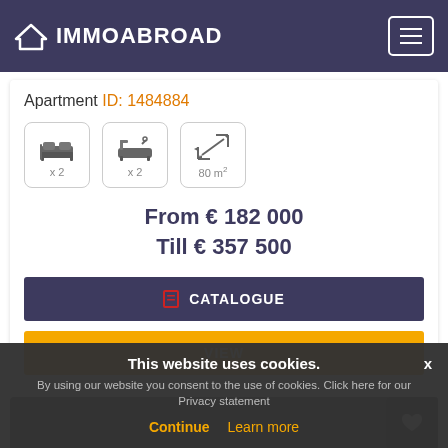IMMOABROAD
Apartment ID: 1484884
[Figure (infographic): Three icon boxes: bed icon x2, bathtub icon x2, resize arrows 80 m²]
From € 182 000
Till € 357 500
CATALOGUE
VIEW
This website uses cookies.
By using our website you consent to the use of cookies. Click here for our Privacy statement
Continue   Learn more